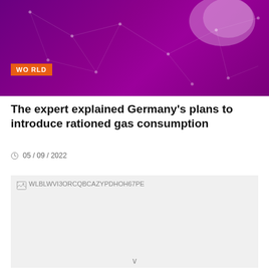[Figure (illustration): Purple banner with network/globe graphic and orange WORLD badge]
The expert explained Germany's plans to introduce rationed gas consumption
05 / 09 / 2022
[Figure (photo): Broken image placeholder showing filename WLBLWVI3ORCQBCAZYPDHOH67PE]